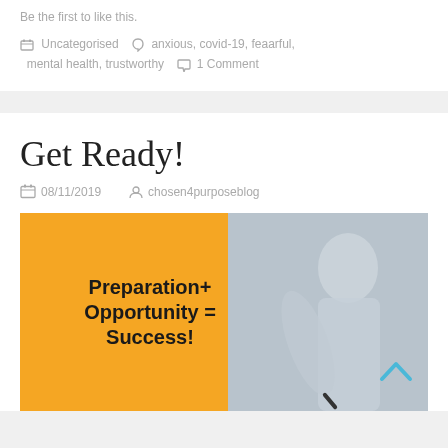Be the first to like this.
Uncategorised  anxious, covid-19, feaarful, mental health, trustworthy  1 Comment
Get Ready!
08/11/2019  chosen4purposeblog
[Figure (photo): Motivational image with orange background on the left showing text 'Preparation+ Opportunity = Success!' in bold black font, and a blurred photo of a person in a grey jacket on the right with a blue chevron arrow pointing up in the bottom right corner.]